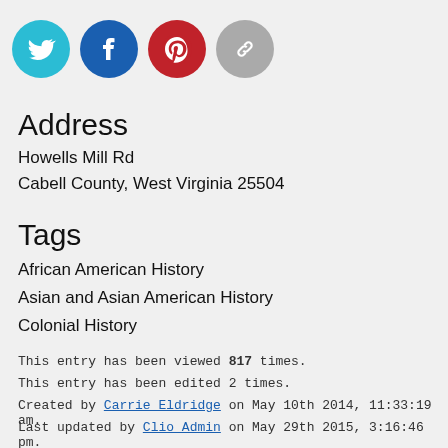[Figure (other): Social share icons: Twitter (teal circle), Facebook (blue circle), Pinterest (red circle with P logo), Link/chain (gray circle)]
Address
Howells Mill Rd
Cabell County, West Virginia 25504
Tags
African American History
Asian and Asian American History
Colonial History
This entry has been viewed 817 times.
This entry has been edited 2 times.
Created by Carrie Eldridge on May 10th 2014, 11:33:19 am.
Last updated by Clio Admin on May 29th 2015, 3:16:46 pm.
Bluetooth Beacon Information